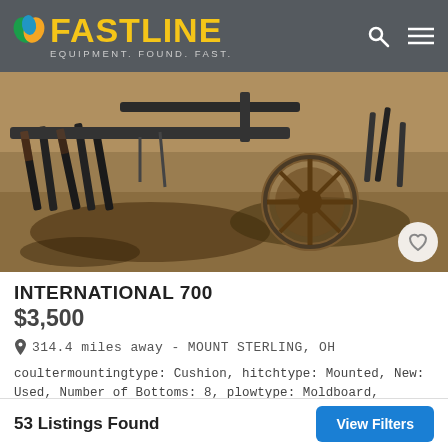FASTLINE — EQUIPMENT. FOUND. FAST.
[Figure (photo): Agricultural plow equipment (International 700) photographed from close up, showing metal tines and a wheel on dry soil ground.]
INTERNATIONAL 700
$3,500
314.4 miles away - MOUNT STERLING, OH
coultermountingtype: Cushion, hitchtype: Mounted, New: Used, Number of Bottoms: 8, plowtype: Moldboard, shankmountingtype: Auto Reset
Dealer Info
53 Listings Found   View Filters